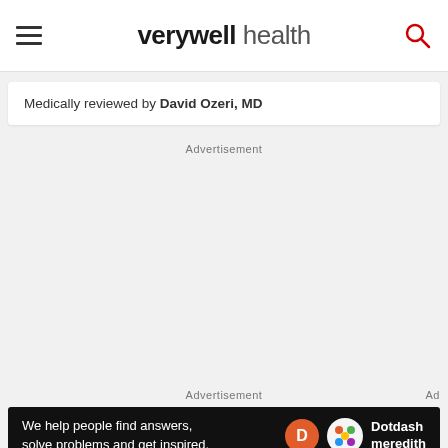verywell health
Medically reviewed by David Ozeri, MD
Advertisement
Advertisement
We help people find answers, solve problems and get inspired. Dotdash meredith